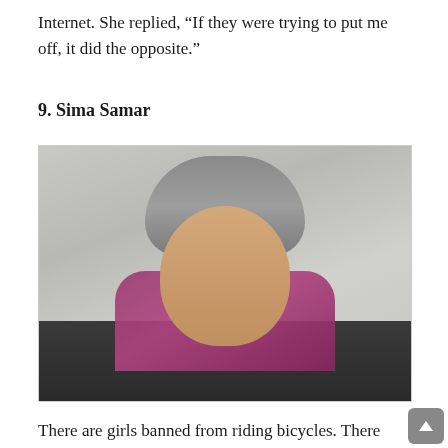Internet. She replied, “If they were trying to put me off, it did the opposite.”
9. Sima Samar
[Figure (photo): Portrait photo of Sima Samar, a woman with short gray hair, round wire-framed glasses, wearing a dark jacket and a purple/magenta scarf, resting her chin on her hand against a light gray background.]
There are girls banned from riding bicycles. There